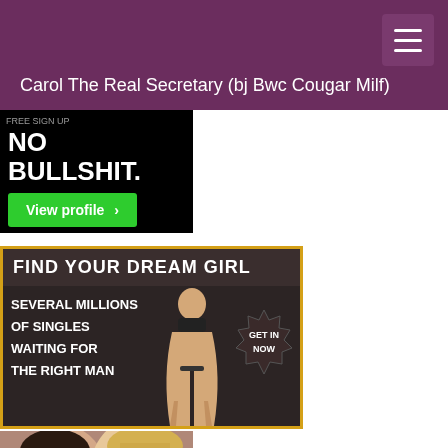Carol The Real Secretary (bj Bwc Cougar Milf)
[Figure (illustration): Black background ad banner with text NO BULLSHIT. and a green View profile button]
[Figure (illustration): Dating site advertisement: FIND YOUR DREAM GIRL - SEVERAL MILLIONS OF SINGLES WAITING FOR THE RIGHT MAN - with a female figure and GET IN NOW badge, gold border]
[Figure (photo): Two women's faces close together, partially visible at bottom of page]